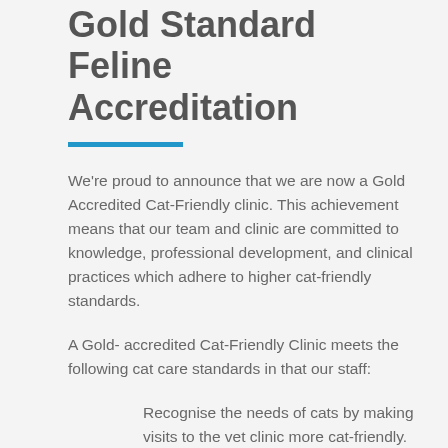Gold Standard Feline Accreditation
We're proud to announce that we are now a Gold Accredited Cat-Friendly clinic. This achievement means that our team and clinic are committed to knowledge, professional development, and clinical practices which adhere to higher cat-friendly standards.
A Gold- accredited Cat-Friendly Clinic meets the following cat care standards in that our staff:
Recognise the needs of cats by making visits to the vet clinic more cat-friendly.
Understand how to approach and handle cats gently and with care.